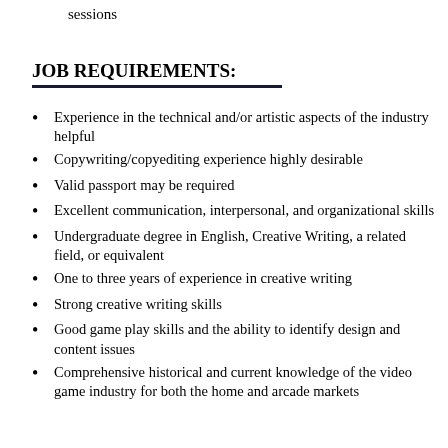sessions
JOB REQUIREMENTS:
Experience in the technical and/or artistic aspects of the industry helpful
Copywriting/copyediting experience highly desirable
Valid passport may be required
Excellent communication, interpersonal, and organizational skills
Undergraduate degree in English, Creative Writing, a related field, or equivalent
One to three years of experience in creative writing
Strong creative writing skills
Good game play skills and the ability to identify design and content issues
Comprehensive historical and current knowledge of the video game industry for both the home and arcade markets